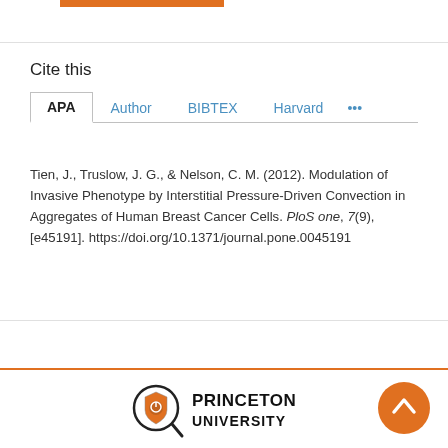Cite this
APA  Author  BIBTEX  Harvard  ...
Tien, J., Truslow, J. G., & Nelson, C. M. (2012). Modulation of Invasive Phenotype by Interstitial Pressure-Driven Convection in Aggregates of Human Breast Cancer Cells. PloS one, 7(9), [e45191]. https://doi.org/10.1371/journal.pone.0045191
[Figure (logo): Princeton University logo with magnifying glass and shield icon]